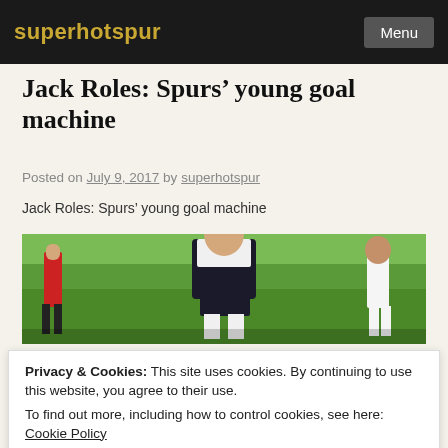superhotspur | Menu
Jack Roles: Spurs’ young goal machine
Posted on July 9, 2017 by superhotspur
Jack Roles: Spurs’ young goal machine
[Figure (photo): Young footballer Jack Roles running during a match, wearing a dark Tottenham training kit with a white shirt, other players visible in background, green hedgerow behind.]
Privacy & Cookies: This site uses cookies. By continuing to use this website, you agree to their use.
To find out more, including how to control cookies, see here: Cookie Policy
Close and accept